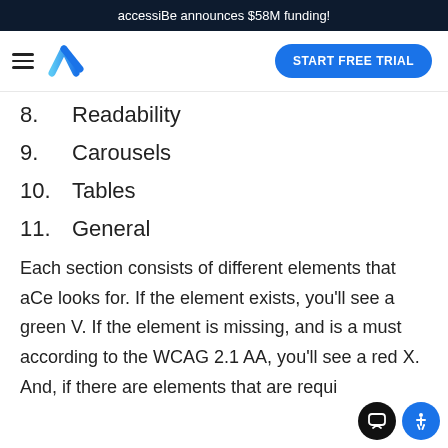accessiBe announces $58M funding!
8.	Readability
9.	Carousels
10.	Tables
11.	General
Each section consists of different elements that aCe looks for. If the element exists, you'll see a green V. If the element is missing, and is a must according to the WCAG 2.1 AA, you'll see a red X. And, if there are elements that are requi...